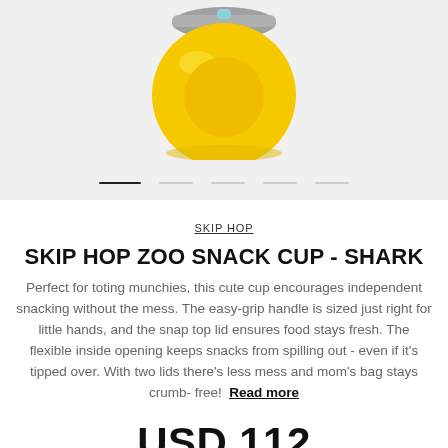[Figure (photo): Yellow shark-themed snack cup product photo on light gray background with carousel navigation dots below]
SKIP HOP
SKIP HOP ZOO SNACK CUP - SHARK
Perfect for toting munchies, this cute cup encourages independent snacking without the mess. The easy-grip handle is sized just right for little hands, and the snap top lid ensures food stays fresh. The flexible inside opening keeps snacks from spilling out - even if it's tipped over. With two lids there's less mess and mom's bag stays crumb-free! Read more
USD 112